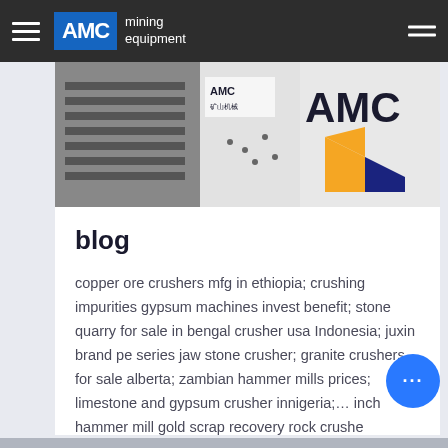AMC mining equipment
[Figure (photo): Banner image showing AMC mining equipment machinery with AMC branding logos visible]
blog
copper ore crushers mfg in ethiopia; crushing impurities gypsum machines invest benefit; stone quarry for sale in bengal crusher usa Indonesia; juxin brand pe series jaw stone crusher; granite crushers for sale alberta; zambian hammer mills prices; limestone and gypsum crusher innigeria;... inch hammer mill gold scrap recovery rock crushe